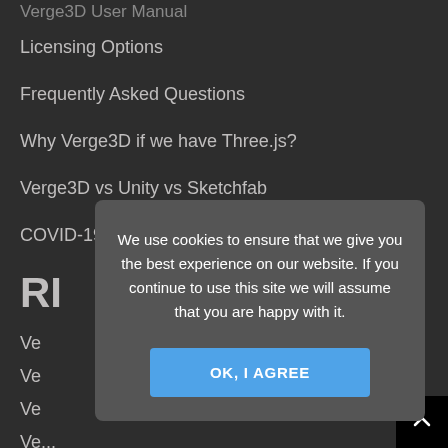Verge3D User Manual
Licensing Options
Frequently Asked Questions
Why Verge3D if we have Three.js?
Verge3D vs Unity vs Sketchfab
COVID-19 Business Survival Guide
RI
Ve
Ve
Ve
Ve...
Verge3D 4.0 for 3ds Max Released
[Figure (screenshot): Cookie consent modal dialog with text: 'We use cookies to ensure that we give you the best experience on our website. If you continue to use this site we will assume that you are happy with it.' and a blue 'OK, I AGREE' button.]